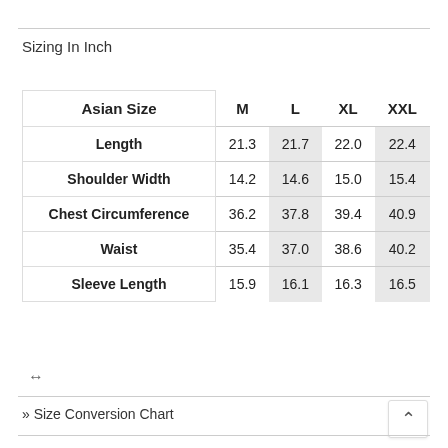Sizing In Inch
| Asian Size | M | L | XL | XXL |
| --- | --- | --- | --- | --- |
| Length | 21.3 | 21.7 | 22.0 | 22.4 |
| Shoulder Width | 14.2 | 14.6 | 15.0 | 15.4 |
| Chest Circumference | 36.2 | 37.8 | 39.4 | 40.9 |
| Waist | 35.4 | 37.0 | 38.6 | 40.2 |
| Sleeve Length | 15.9 | 16.1 | 16.3 | 16.5 |
» Size Conversion Chart